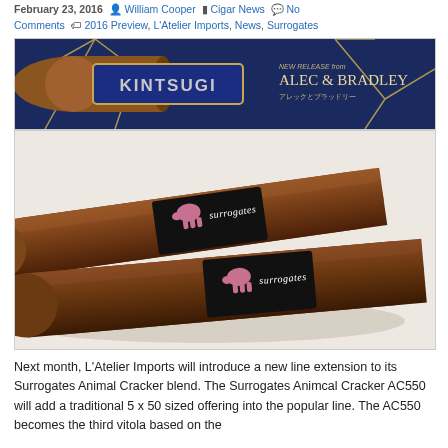February 23, 2016  William Cooper  Cigar News  No Comments  2016 Preview, L'Atelier Imports, News, Surrogates
[Figure (photo): Promotional banner for Alec & Bradley Kintsugi cigar. Dark blue background with gold geometric crack lines, a cigar with blue band labeled KINTSUGI, and text 'NEW RELEASE from ALEC & BRADLEY' in gold on the right.]
[Figure (photo): Two dark brown Surrogates cigars with black and pink elephant band labeled 'surrogates', lying on a white background.]
Next month, L'Atelier Imports will introduce a new line extension to its Surrogates Animal Cracker blend. The Surrogates Animcal Cracker AC550 will add a traditional 5 x 50 sized offering into the popular line. The AC550 becomes the third vitola based on the